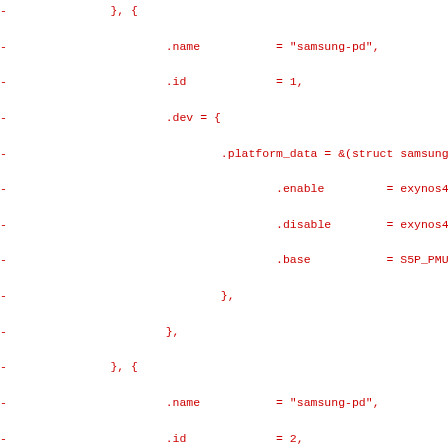Diff code block showing C struct initialization with samsung-pd platform device entries (id=1,2,3) with enable, disable, base fields